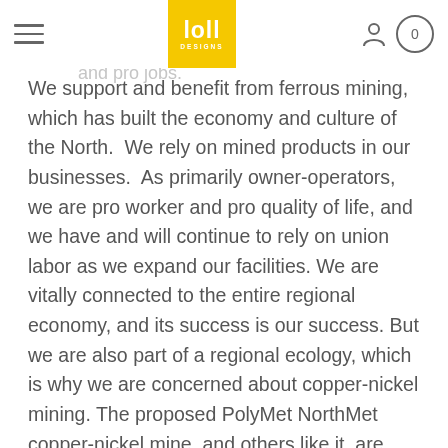[Loll Designs logo] [hamburger menu] [user icon] [cart: 0]
depend on the health of our watershed. We are pro responsibility and pro jobs.
We support and benefit from ferrous mining, which has built the economy and culture of the North. We rely on mined products in our businesses. As primarily owner-operators, we are pro worker and pro quality of life, and we have and will continue to rely on union labor as we expand our facilities. We are vitally connected to the entire regional economy, and its success is our success. But we are also part of a regional ecology, which is why we are concerned about copper-nickel mining. The proposed PolyMet NorthMet copper-nickel mine, and others like it, are vastly different from ferrous mining, and have the potential to spread toxic metals throughout our watershed. In copper-nickel